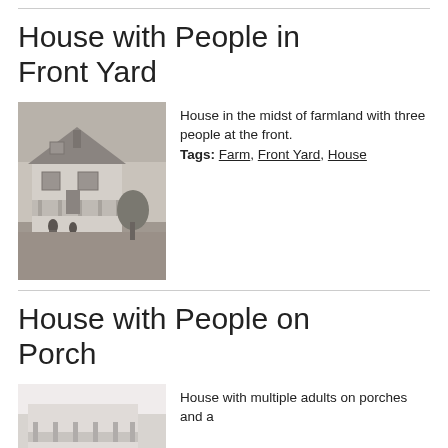House with People in Front Yard
[Figure (photo): Black and white photograph of a house in the midst of farmland with three people at the front.]
House in the midst of farmland with three people at the front. Tags: Farm, Front Yard, House
House with People on Porch
[Figure (photo): Partial view of a house with multiple adults on porches.]
House with multiple adults on porches and a